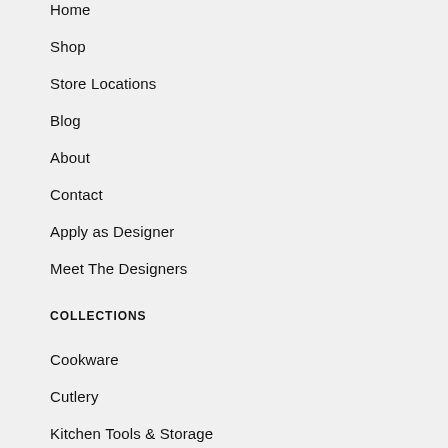Home
Shop
Store Locations
Blog
About
Contact
Apply as Designer
Meet The Designers
COLLECTIONS
Cookware
Cutlery
Kitchen Tools & Storage
China
Tabletop & Bar
Homekeeping